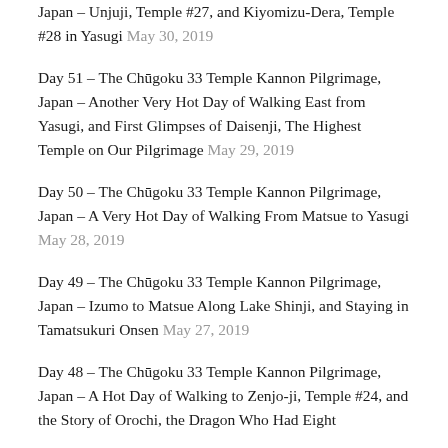Japan – Unjuji, Temple #27, and Kiyomizu-Dera, Temple #28 in Yasugi May 30, 2019
Day 51 – The Chūgoku 33 Temple Kannon Pilgrimage, Japan – Another Very Hot Day of Walking East from Yasugi, and First Glimpses of Daisenji, The Highest Temple on Our Pilgrimage May 29, 2019
Day 50 – The Chūgoku 33 Temple Kannon Pilgrimage, Japan – A Very Hot Day of Walking From Matsue to Yasugi May 28, 2019
Day 49 – The Chūgoku 33 Temple Kannon Pilgrimage, Japan – Izumo to Matsue Along Lake Shinji, and Staying in Tamatsukuri Onsen May 27, 2019
Day 48 – The Chūgoku 33 Temple Kannon Pilgrimage, Japan – A Hot Day of Walking to Zenjo-ji, Temple #24, and the Story of Orochi, the Dragon Who Had Eight